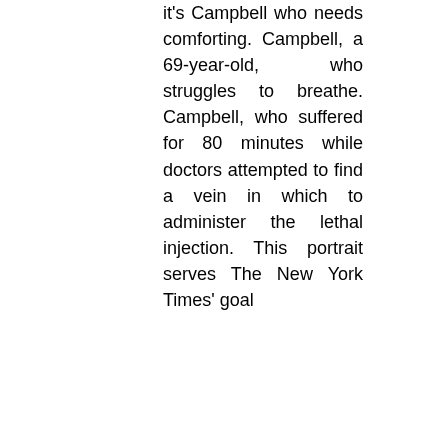it's Campbell who needs comforting. Campbell, a 69-year-old, who struggles to breathe. Campbell, who suffered for 80 minutes while doctors attempted to find a vein in which to administer the lethal injection. This portrait serves The New York Times' goal